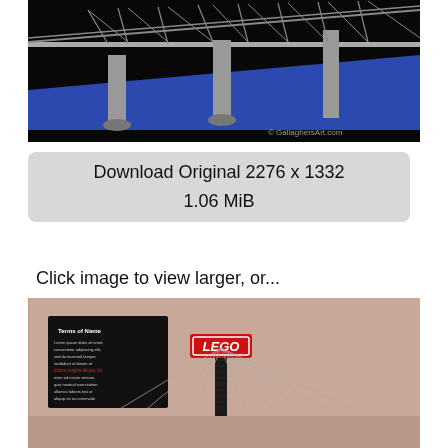[Figure (photo): 3D rendered grey bridge structure with blue surface/water, on black background. Watermark: © GallaghersArt.com]
Download Original 2276 x 1332

1.06 MiB
Click image to view larger, or...
[Figure (photo): Photo of a Lego art installation showing a black Lego brick tower/pole with the red LEGO logo sign on top, strings extending outward, and a black information plaque on the left wall. Room has beige/peach walls.]